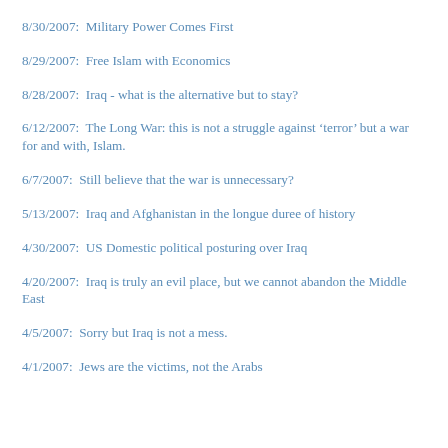8/30/2007:  Military Power Comes First
8/29/2007:  Free Islam with Economics
8/28/2007:  Iraq - what is the alternative but to stay?
6/12/2007:  The Long War: this is not a struggle against ‘terror’ but a war for and with, Islam.
6/7/2007:  Still believe that the war is unnecessary?
5/13/2007:  Iraq and Afghanistan in the longue duree of history
4/30/2007:  US Domestic political posturing over Iraq
4/20/2007:  Iraq is truly an evil place, but we cannot abandon the Middle East
4/5/2007:  Sorry but Iraq is not a mess.
4/1/2007:  Jews are the victims, not the Arabs